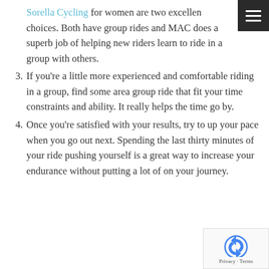Sorella Cycling for women are two excellent choices. Both have group rides and MACC does a superb job of helping new riders learn to ride in a group with others.
3. If you're a little more experienced and comfortable riding in a group, find some area group ride that fit your time constraints and ability. It really helps the time go by.
4. Once you're satisfied with your results, try to up your pace when you go out next. Spending the last thirty minutes of your ride pushing yourself is a great way to increase your endurance without putting a lot of on your journey.